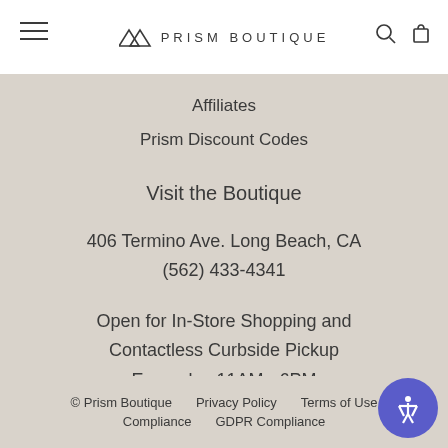PRISM BOUTIQUE
Affiliates
Prism Discount Codes
Visit the Boutique
406 Termino Ave. Long Beach, CA
(562) 433-4341
Open for In-Store Shopping and Contactless Curbside Pickup
Every day 11AM - 6PM
© Prism Boutique   Privacy Policy   Terms of Use   Compliance   GDPR Compliance